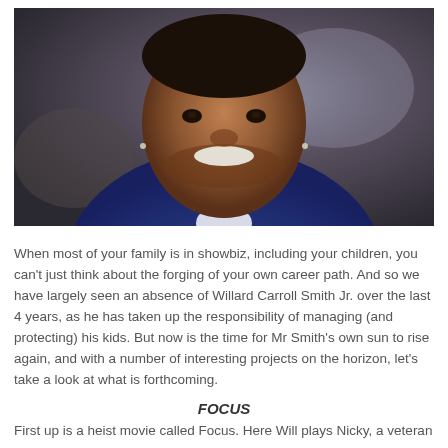[Figure (photo): Portrait photo of a smiling man in a blue suit with a white dress shirt, wearing a small earring on each ear, photographed against a blurred background.]
When most of your family is in showbiz, including your children, you can't just think about the forging of your own career path. And so we have largely seen an absence of Willard Carroll Smith Jr. over the last 4 years, as he has taken up the responsibility of managing (and protecting) his kids. But now is the time for Mr Smith's own sun to rise again, and with a number of interesting projects on the horizon, let's take a look at what is forthcoming.
FOCUS
First up is a heist movie called Focus. Here Will plays Nicky, a veteran